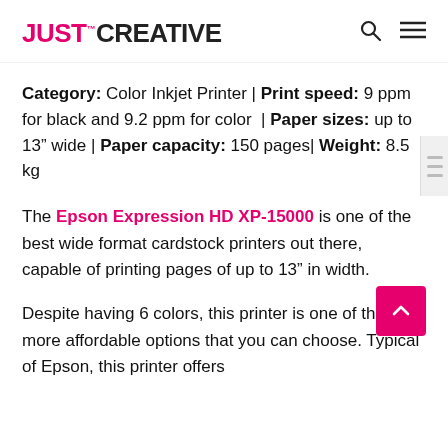JUST™ CREATIVE
Category: Color Inkjet Printer | Print speed: 9 ppm for black and 9.2 ppm for color | Paper sizes: up to 13″ wide | Paper capacity: 150 pages| Weight: 8.5 kg
The Epson Expression HD XP-15000 is one of the best wide format cardstock printers out there, capable of printing pages of up to 13″ in width.
Despite having 6 colors, this printer is one of the more affordable options that you can choose. Typical of Epson, this printer offers